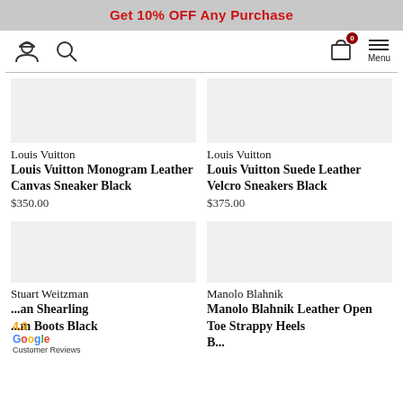Get 10% OFF Any Purchase
[Figure (screenshot): Navigation bar with user icon, search icon, shopping bag icon with badge '0', and Menu icon]
[Figure (photo): Product image placeholder for Louis Vuitton Monogram Leather Canvas Sneaker Black]
Louis Vuitton
Louis Vuitton Monogram Leather Canvas Sneaker Black
$350.00
[Figure (photo): Product image placeholder for Louis Vuitton Suede Leather Velcro Sneakers Black]
Louis Vuitton
Louis Vuitton Suede Leather Velcro Sneakers Black
$375.00
[Figure (photo): Product image placeholder for Stuart Weitzman Shearling Platform Boots Black]
Stuart Weitzman
Stuart Weitzman Shearling Platform Boots Black
[Figure (photo): Product image placeholder for Manolo Blahnik Leather Open Toe Strappy Heels]
Manolo Blahnik
Manolo Blahnik Leather Open Toe Strappy Heels
4.9
Google
Customer Reviews